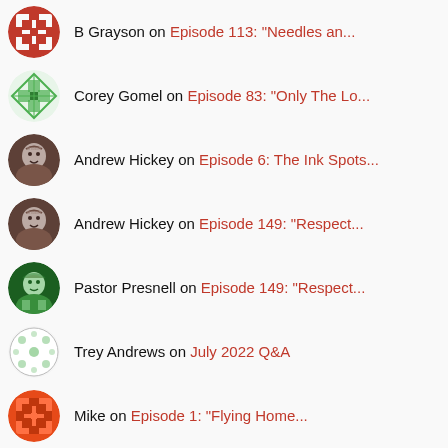B Grayson on Episode 113: "Needles an..."
Corey Gomel on Episode 83: "Only The Lo..."
Andrew Hickey on Episode 6: The Ink Spots...
Andrew Hickey on Episode 149: "Respect..."
Pastor Presnell on Episode 149: "Respect..."
Trey Andrews on July 2022 Q&A
Mike on Episode 1: "Flying Home..."
Thiago on Episode 6: The Ink Spots...
Wilson Smith on BONUS: I Read The News Today